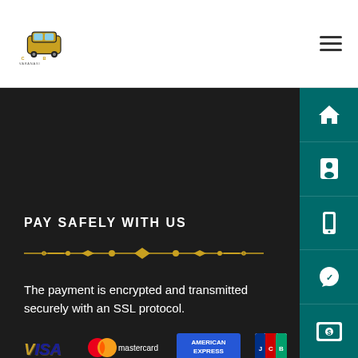[Figure (logo): Cab Varanasi logo with taxi car icon in yellow/dark, text CAB VARANASI]
[Figure (other): Hamburger menu icon (three horizontal lines)]
PAY SAFELY WITH US
[Figure (illustration): Decorative golden/yellow ornamental divider line with central diamond shape]
The payment is encrypted and transmitted securely with an SSL protocol.
[Figure (illustration): Payment card logos: VISA, Mastercard, American Express, JCB]
[Figure (other): Right sidebar with teal background containing icons: home, person/contact, mobile phone, WhatsApp, money/payment]